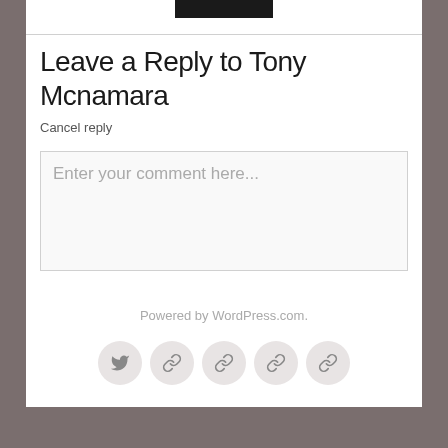[Figure (other): Small black button/bar image at top of card]
Leave a Reply to Tony Mcnamara
Cancel reply
Enter your comment here...
Powered by WordPress.com.
[Figure (other): Row of five circular social/link icon buttons: Twitter, and four generic link icons]